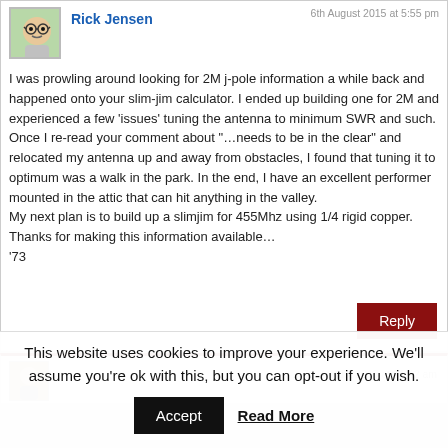Rick Jensen
6th August 2015 at 5:55 pm
I was prowling around looking for 2M j-pole information a while back and happened onto your slim-jim calculator. I ended up building one for 2M and experienced a few 'issues' tuning the antenna to minimum SWR and such. Once I re-read your comment about "…needs to be in the clear" and relocated my antenna up and away from obstacles, I found that tuning it to optimum was a walk in the park. In the end, I have an excellent performer mounted in the attic that can hit anything in the valley.
My next plan is to build up a slimjim for 455Mhz using 1/4 rigid copper. Thanks for making this information available…
'73
Reply
7th August 2015 at 11:42 am
This website uses cookies to improve your experience. We'll assume you're ok with this, but you can opt-out if you wish.
Accept
Read More